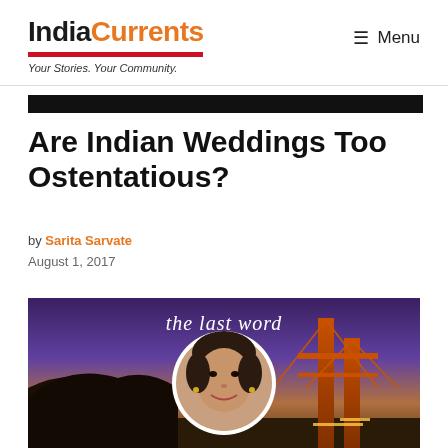IndiaCurrents — Your Stories. Your Community. — Menu
Are Indian Weddings Too Ostentatious?
by Sarita Sarvate
August 1, 2017
[Figure (photo): Featured image with Golden Gate Bridge at dusk/purple sky, author photo in circular frame, text overlay reading 'the last word']